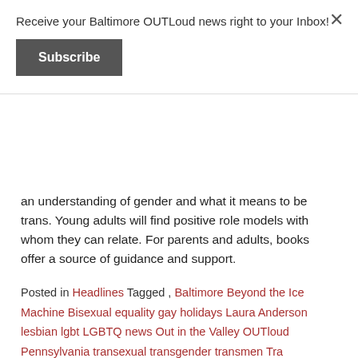Receive your Baltimore OUTLoud news right to your Inbox!
Subscribe
an understanding of gender and what it means to be trans. Young adults will find positive role models with whom they can relate. For parents and adults, books offer a source of guidance and support.
Posted in Headlines Tagged , Baltimore Beyond the Ice Machine Bisexual equality gay holidays Laura Anderson lesbian lgbt LGBTQ news Out in the Valley OUTloud Pennsylvania transexual transgender transmen Tra
Father’s Day for a Transwoman
Father’s Day is upon us once again. For thousands of transwomen who are dads, this can be a difficult weekend.